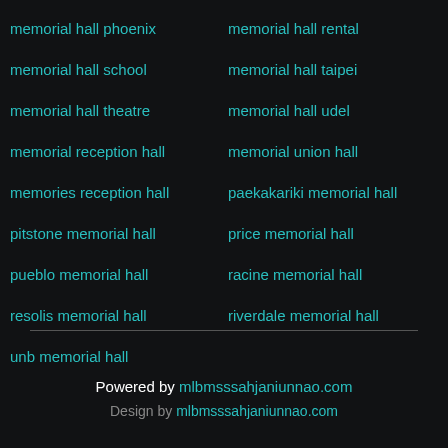memorial hall phoenix
memorial hall rental
memorial hall school
memorial hall taipei
memorial hall theatre
memorial hall udel
memorial reception hall
memorial union hall
memories reception hall
paekakariki memorial hall
pitstone memorial hall
price memorial hall
pueblo memorial hall
racine memorial hall
resolis memorial hall
riverdale memorial hall
unb memorial hall
Powered by mlbmsssahjaniunnao.com
Design by mlbmsssahjaniunnao.com